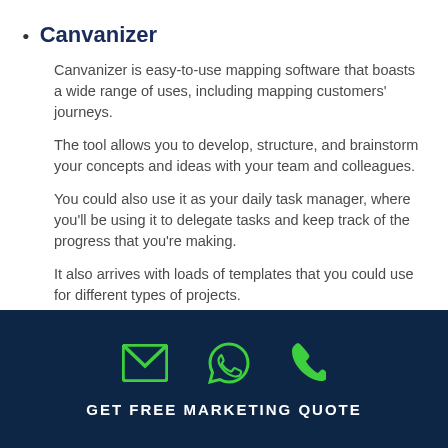Canvanizer
Canvanizer is easy-to-use mapping software that boasts a wide range of uses, including mapping customers' journeys.
The tool allows you to develop, structure, and brainstorm your concepts and ideas with your team and colleagues.
You could also use it as your daily task manager, where you'll be using it to delegate tasks and keep track of the progress that you're making.
It also arrives with loads of templates that you could use for different types of projects.
GET FREE MARKETING QUOTE